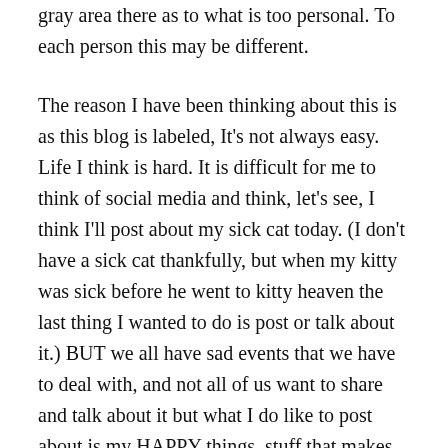gray area there as to what is too personal. To each person this may be different.
The reason I have been thinking about this is as this blog is labeled, It's not always easy. Life I think is hard. It is difficult for me to think of social media and think, let's see, I think I'll post about my sick cat today. (I don't have a sick cat thankfully, but when my kitty was sick before he went to kitty heaven the last thing I wanted to do is post or talk about it.) BUT we all have sad events that we have to deal with, and not all of us want to share and talk about it but what I do like to post about is my HAPPY things, stuff that makes me smile and brings me pleasure. Because I can't bring myself to post, Life sucks because I have to work night shift, or that I have to work 40 hours a week, 5 night shifts a